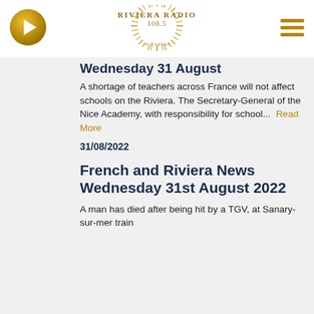[Figure (logo): Riviera Radio 106.5 in English logo with sunburst graphic, gold play button on left, hamburger menu icon on right]
Wednesday 31 August
A shortage of teachers across France will not affect schools on the Riviera. The Secretary-General of the Nice Academy, with responsibility for school... Read More
31/08/2022
French and Riviera News Wednesday 31st August 2022
A man has died after being hit by a TGV, at Sanary-sur-mer train